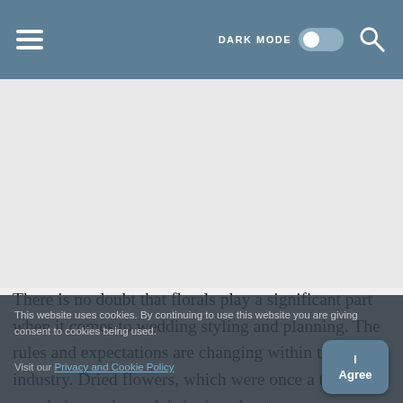DARK MODE [toggle] [search]
[Figure (other): Advertisement or image placeholder area (blank/light gray)]
There is no doubt that florals play a significant part when it comes to wedding styling and planning. The rules and expectations are changing within the industry. Dried flowers, which were once a taboo, are now being embraced, bringing about new dimensions, textures, specialty blooms to the game. Instead, there are floral
This website uses cookies. By continuing to use this website you are giving consent to cookies being used. Visit our Privacy and Cookie Policy
I Agree